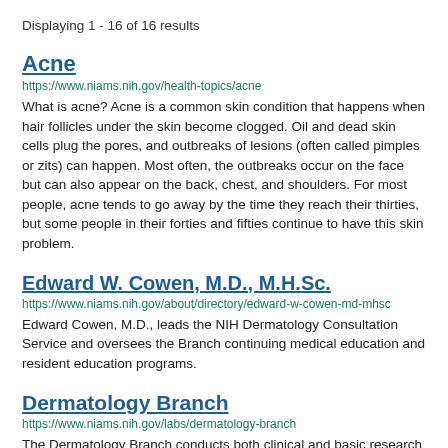Displaying 1 - 16 of 16 results
Acne
https://www.niams.nih.gov/health-topics/acne
What is acne? Acne is a common skin condition that happens when hair follicles under the skin become clogged. Oil and dead skin cells plug the pores, and outbreaks of lesions (often called pimples or zits) can happen. Most often, the outbreaks occur on the face but can also appear on the back, chest, and shoulders. For most people, acne tends to go away by the time they reach their thirties, but some people in their forties and fifties continue to have this skin problem.
Edward W. Cowen, M.D., M.H.Sc.
https://www.niams.nih.gov/about/directory/edward-w-cowen-md-mhsc
Edward Cowen, M.D., leads the NIH Dermatology Consultation Service and oversees the Branch continuing medical education and resident education programs.
Dermatology Branch
https://www.niams.nih.gov/labs/dermatology-branch
The Dermatology Branch conducts both clinical and basic research